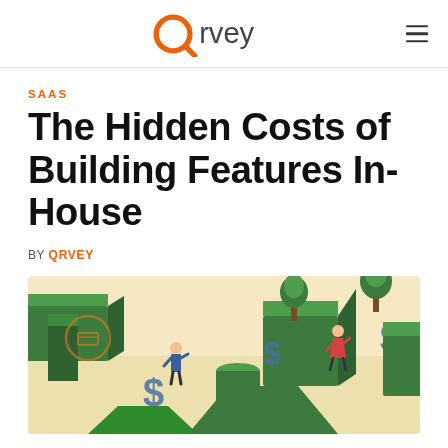Qrvey
SAAS
The Hidden Costs of Building Features In-House
BY QRVEY
[Figure (illustration): Isometric illustration showing people navigating a green maze-like structure with dollar signs and trees, representing the hidden costs of building in-house]